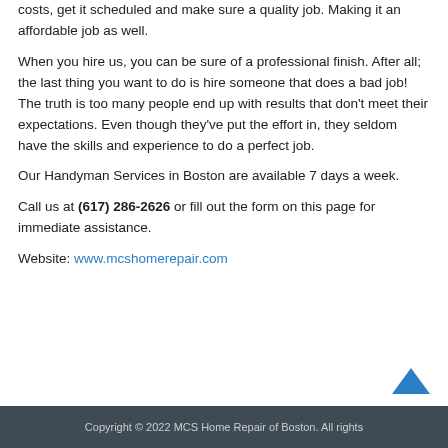costs, get it scheduled and make sure a quality job. Making it an affordable job as well.
When you hire us, you can be sure of a professional finish. After all; the last thing you want to do is hire someone that does a bad job! The truth is too many people end up with results that don't meet their expectations. Even though they've put the effort in, they seldom have the skills and experience to do a perfect job.
Our Handyman Services in Boston are available 7 days a week.
Call us at (617) 286-2626 or fill out the form on this page for immediate assistance.
Website: www.mcshomerepair.com
Copyright © 2022 MCS Home Repair of Boston. All rights